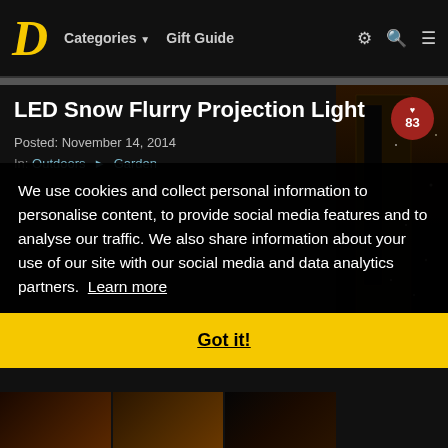D  Categories ▼  Gift Guide
LED Snow Flurry Projection Light
Posted: November 14, 2014
In: Outdoors ➤ Garden
We use cookies and collect personal information to personalise content, to provide social media features and to analyse our traffic. We also share information about your use of our site with our social media and data analytics partners. Learn more
Got it!
[Figure (photo): Night-time photo of a building with LED snow flurry projection lights creating snow effect on the facade]